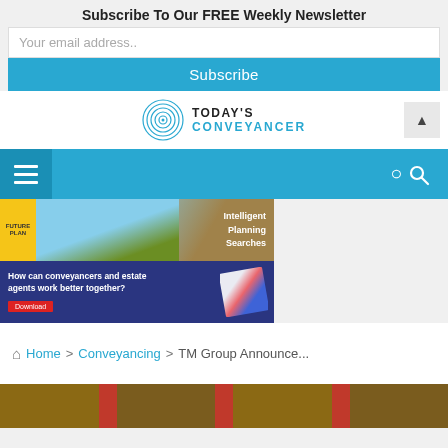Subscribe To Our FREE Weekly Newsletter
Your email address..
Subscribe
[Figure (logo): Today's Conveyancer logo with concentric circle icon]
[Figure (infographic): Navigation bar with hamburger menu icon and search icon on cyan/blue background]
[Figure (photo): Future Planning Searches banner ad with building frame photo - Intelligent Planning Searches]
[Figure (photo): Banner ad: How can conveyancers and estate agents work better together? with purple background and documents photo]
Home > Conveyancing > TM Group Announce...
[Figure (photo): Hero image strip at bottom showing brick/wood textures with red accents]